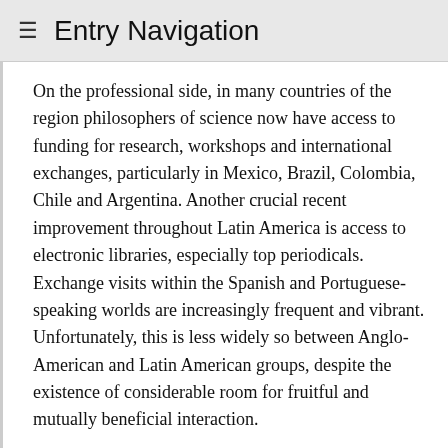≡ Entry Navigation
On the professional side, in many countries of the region philosophers of science now have access to funding for research, workshops and international exchanges, particularly in Mexico, Brazil, Colombia, Chile and Argentina. Another crucial recent improvement throughout Latin America is access to electronic libraries, especially top periodicals. Exchange visits within the Spanish and Portuguese-speaking worlds are increasingly frequent and vibrant. Unfortunately, this is less widely so between Anglo-American and Latin American groups, despite the existence of considerable room for fruitful and mutually beneficial interaction.
Arguably, among the most persistent problems in the region is the comparative hardship of academic careers, a difficulty unlikely to improve until universities and research centers provide appropriate stability and salaries, as well as research facilities on a regular, long-term basis. In the view of many Latin American colleagues, having access to proper university positions, earned on the basis